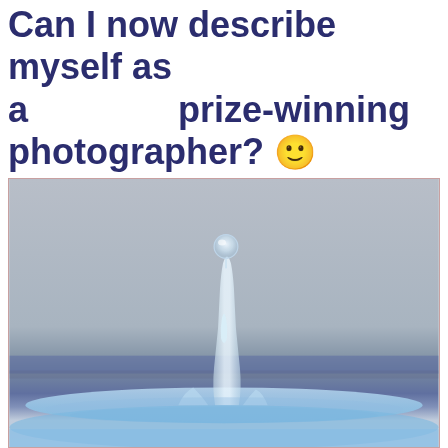Can I now describe myself as a prize-winning photographer? 🙂
[Figure (photo): High-speed macro photograph of a water droplet splash — a single droplet is suspended at the top of a thin column of water rising from a blue water surface, against a soft grey background.]